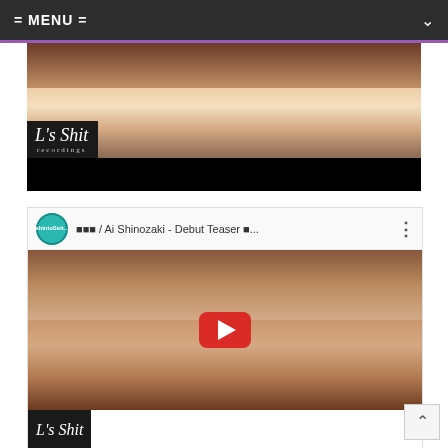= MENU =
[Figure (screenshot): Video thumbnail showing a close-up face with L's Shit recordings label overlay, dark bottom bar]
[Figure (screenshot): YouTube embedded video player showing Ai Shinozaki - Debut Teaser, with channel avatar, title bar, face close-up thumbnail, YouTube play button overlay, and L's Shit label at bottom]